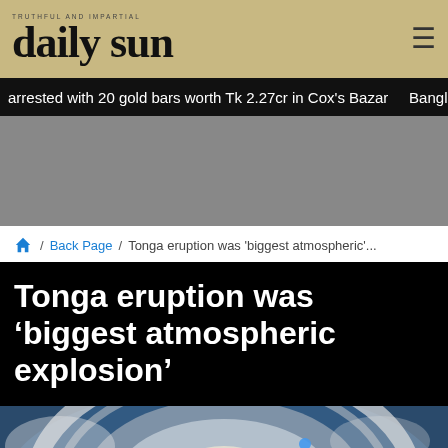daily sun
arrested with 20 gold bars worth Tk 2.27cr in Cox's Bazar   Banglad
[Figure (other): Grey advertisement placeholder area]
/ Back Page / Tonga eruption was 'biggest atmospheric'...
Tonga eruption was 'biggest atmospheric explosion'
[Figure (photo): Satellite image showing the Tonga volcanic eruption with a massive circular shockwave and ash cloud over the ocean, with fire/lava visible]